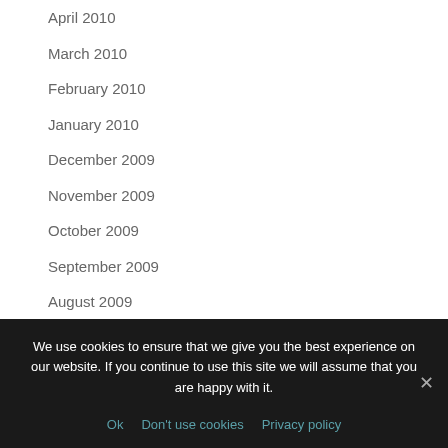April 2010
March 2010
February 2010
January 2010
December 2009
November 2009
October 2009
September 2009
August 2009
July 2009
June 2009
We use cookies to ensure that we give you the best experience on our website. If you continue to use this site we will assume that you are happy with it.
Ok   Don't use cookies   Privacy policy